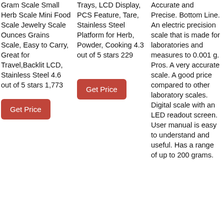Gram Scale Small Herb Scale Mini Food Scale Jewelry Scale Ounces Grains Scale, Easy to Carry, Great for Travel,Backlit LCD, Stainless Steel 4.6 out of 5 stars 1,773
Get Price
Trays, LCD Display, PCS Feature, Tare, Stainless Steel Platform for Herb, Powder, Cooking 4.3 out of 5 stars 229
Get Price
Accurate and Precise. Bottom Line. An electric precision scale that is made for laboratories and measures to 0.001 g. Pros. A very accurate scale. A good price compared to other laboratory scales. Digital scale with an LED readout screen. User manual is easy to understand and useful. Has a range of up to 200 grams.